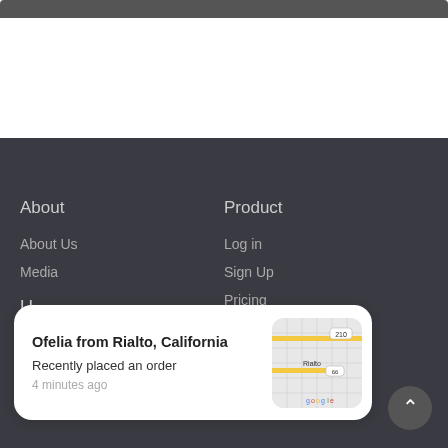[Figure (screenshot): Top navigation or search bar (dark grey, partially visible at top of page)]
About
About Us
Media
Product
Log in
Sign Up
Pricing
Contact
Affiliates & Partners / Services
Resellers
[Figure (infographic): Notification popup showing 'Ofelia from Rialto, California — Recently placed an order — 4 minutes ago' with a Google Maps thumbnail showing the Rialto, CA area]
[Figure (other): Scroll-to-top circular button with upward arrow]